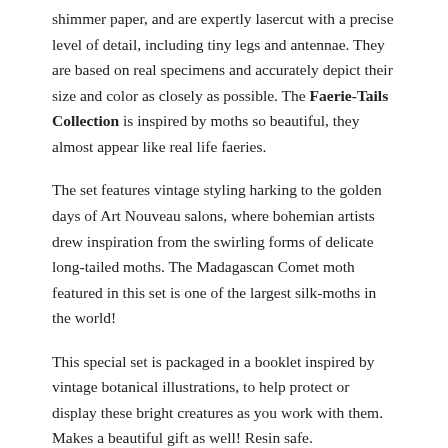shimmer paper, and are expertly lasercut with a precise level of detail, including tiny legs and antennae. They are based on real specimens and accurately depict their size and color as closely as possible. The Faerie-Tails Collection is inspired by moths so beautiful, they almost appear like real life faeries.
The set features vintage styling harking to the golden days of Art Nouveau salons, where bohemian artists drew inspiration from the swirling forms of delicate long-tailed moths. The Madagascan Comet moth featured in this set is one of the largest silk-moths in the world!
This special set is packaged in a booklet inspired by vintage botanical illustrations, to help protect or display these bright creatures as you work with them. Makes a beautiful gift as well! Resin safe.
Share   Tweet   Pin it